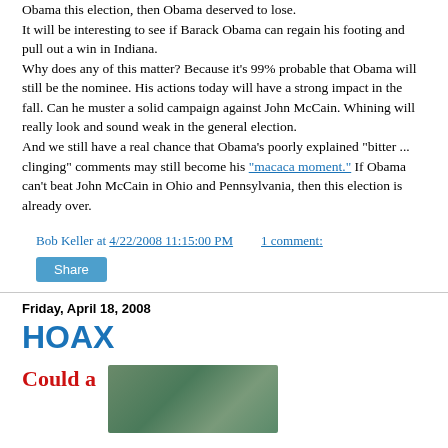Obama this election, then Obama deserved to lose. It will be interesting to see if Barack Obama can regain his footing and pull out a win in Indiana. Why does any of this matter? Because it's 99% probable that Obama will still be the nominee. His actions today will have a strong impact in the fall. Can he muster a solid campaign against John McCain. Whining will really look and sound weak in the general election. And we still have a real chance that Obama's poorly explained "bitter ... clinging" comments may still become his "macaca moment." If Obama can't beat John McCain in Ohio and Pennsylvania, then this election is already over.
Bob Keller at 4/22/2008 11:15:00 PM   1 comment:
Share
Friday, April 18, 2008
HOAX
Could a